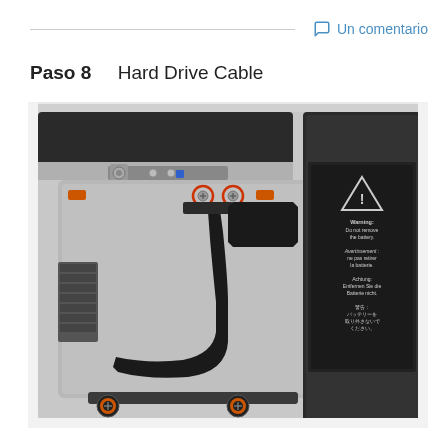Un comentario
Paso 8    Hard Drive Cable
[Figure (photo): Interior view of a MacBook laptop showing the hard drive cable. Two orange-circled screws are visible near the top center holding the cable bracket. A black flexible ribbon cable (hard drive cable) runs from the upper area down and curves to the lower left. On the right side is a battery with a warning label in multiple languages. Two more screws with orange highlights are visible at the bottom of the hard drive bay. Orange rubber bumpers are visible at the left and right sides of the bay.]